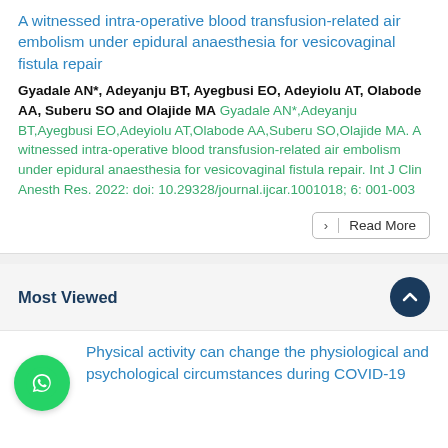A witnessed intra-operative blood transfusion-related air embolism under epidural anaesthesia for vesicovaginal fistula repair
Gyadale AN*, Adeyanju BT, Ayegbusi EO, Adeyiolu AT, Olabode AA, Suberu SO and Olajide MA Gyadale AN*,Adeyanju BT,Ayegbusi EO,Adeyiolu AT,Olabode AA,Suberu SO,Olajide MA. A witnessed intra-operative blood transfusion-related air embolism under epidural anaesthesia for vesicovaginal fistula repair. Int J Clin Anesth Res. 2022: doi: 10.29328/journal.ijcar.1001018; 6: 001-003
Read More
Most Viewed
Physical activity can change the physiological and psychological circumstances during COVID-19